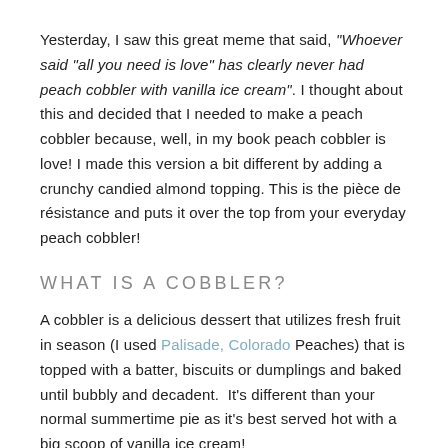Yesterday, I saw this great meme that said, “Whoever said “all you need is love” has clearly never had peach cobbler with vanilla ice cream”.  I thought about this and decided that I needed to make a peach cobbler because, well, in my book peach cobbler is love! I made this version a bit different by adding a crunchy candied almond topping. This is the pièce de résistance and puts it over the top from your everyday peach cobbler!
WHAT IS A COBBLER?
A cobbler is a delicious dessert that utilizes fresh fruit in season (I used Palisade, Colorado Peaches) that is topped with a batter, biscuits or dumplings and baked until bubbly and decadent.  It’s different than your normal summertime pie as it’s best served hot with a big scoop of vanilla ice cream!